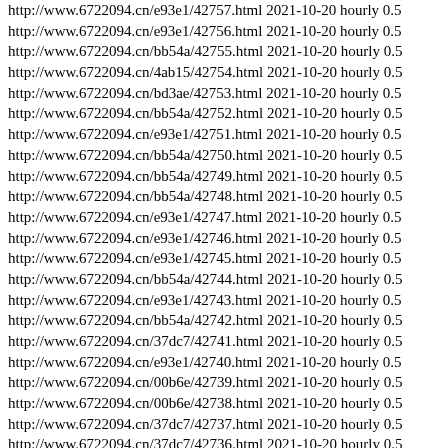http://www.6722094.cn/e93e1/42757.html 2021-10-20 hourly 0.5
http://www.6722094.cn/e93e1/42756.html 2021-10-20 hourly 0.5
http://www.6722094.cn/bb54a/42755.html 2021-10-20 hourly 0.5
http://www.6722094.cn/4ab15/42754.html 2021-10-20 hourly 0.5
http://www.6722094.cn/bd3ae/42753.html 2021-10-20 hourly 0.5
http://www.6722094.cn/bb54a/42752.html 2021-10-20 hourly 0.5
http://www.6722094.cn/e93e1/42751.html 2021-10-20 hourly 0.5
http://www.6722094.cn/bb54a/42750.html 2021-10-20 hourly 0.5
http://www.6722094.cn/bb54a/42749.html 2021-10-20 hourly 0.5
http://www.6722094.cn/bb54a/42748.html 2021-10-20 hourly 0.5
http://www.6722094.cn/e93e1/42747.html 2021-10-20 hourly 0.5
http://www.6722094.cn/e93e1/42746.html 2021-10-20 hourly 0.5
http://www.6722094.cn/e93e1/42745.html 2021-10-20 hourly 0.5
http://www.6722094.cn/bb54a/42744.html 2021-10-20 hourly 0.5
http://www.6722094.cn/e93e1/42743.html 2021-10-20 hourly 0.5
http://www.6722094.cn/bb54a/42742.html 2021-10-20 hourly 0.5
http://www.6722094.cn/37dc7/42741.html 2021-10-20 hourly 0.5
http://www.6722094.cn/e93e1/42740.html 2021-10-20 hourly 0.5
http://www.6722094.cn/00b6e/42739.html 2021-10-20 hourly 0.5
http://www.6722094.cn/00b6e/42738.html 2021-10-20 hourly 0.5
http://www.6722094.cn/37dc7/42737.html 2021-10-20 hourly 0.5
http://www.6722094.cn/37dc7/42736.html 2021-10-20 hourly 0.5
http://www.6722094.cn/37dc7/42735.html 2021-10-20 hourly 0.5
http://www.6722094.cn/4ab15/42734.html 2021-10-20 hourly 0.5
http://www.6722094.cn/37dc7/42733.html 2021-10-20 hourly 0.5